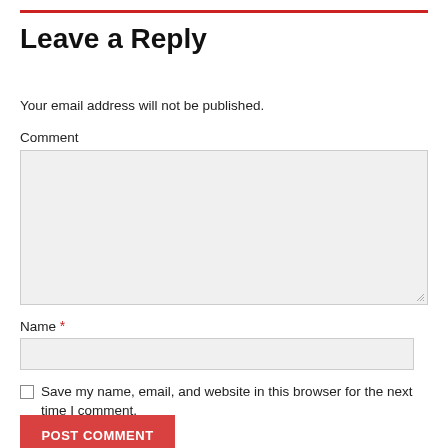Leave a Reply
Your email address will not be published.
Comment
Name *
Save my name, email, and website in this browser for the next time I comment.
POST COMMENT